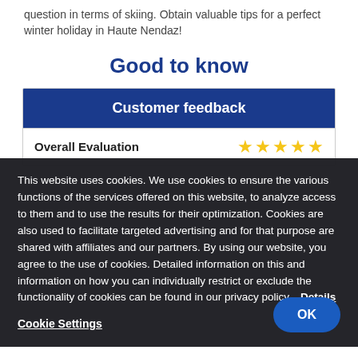question in terms of skiing. Obtain valuable tips for a perfect winter holiday in Haute Nendaz!
Good to know
Customer feedback
Overall Evaluation
This website uses cookies. We use cookies to ensure the various functions of the services offered on this website, to analyze access to them and to use the results for their optimization. Cookies are also used to facilitate targeted advertising and for that purpose are shared with affiliates and our partners. By using our website, you agree to the use of cookies. Detailed information on this and information on how you can individually restrict or exclude the functionality of cookies can be found in our privacy policy. Details
Cookie Settings
OK